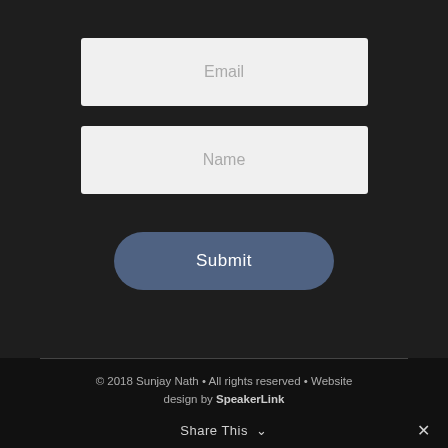[Figure (screenshot): Email input field with placeholder text 'Email' on dark background]
[Figure (screenshot): Name input field with placeholder text 'Name' on dark background]
[Figure (screenshot): Submit button with rounded corners and blue-grey color]
© 2018 Sunjay Nath • All rights reserved • Website design by SpeakerLink
Share This ∨